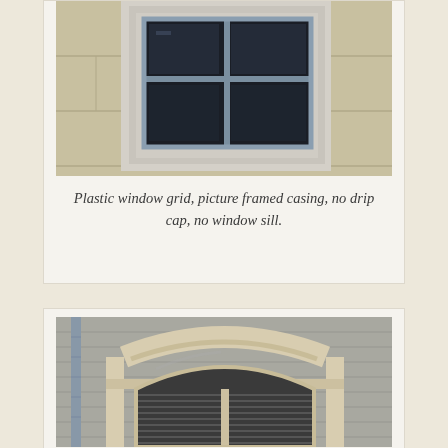[Figure (photo): Close-up photograph of a window with plastic grid, picture framed casing, no drip cap, no window sill, set in a light-colored masonry wall.]
Plastic window grid, picture framed casing, no drip cap, no window sill.
[Figure (photo): Photograph of an arched window with ornate stone or cast trim surround and an arched top casing, set in a gray siding building, partially visible from below.]